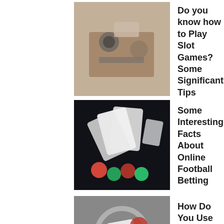[Figure (photo): Hands at a table with casino chips and playing cards, overhead view]
Do you know how to Play Slot Games? Some Significant Tips
[Figure (photo): Playing cards and colorful dice against a dark background]
Some Interesting Facts About Online Football Betting
[Figure (photo): Playing cards with a magnifying glass and red dice on a laptop keyboard]
How Do You Use Eat-and-Run Verification Sites?
[Figure (photo): Casino chips and playing cards on a wooden table surface]
Why Web-Based Slot Site Is Becoming The First Preferable For Gamblers?
[Figure (photo): Hands near casino chips on a green table with a tablet]
What Are The Top 3 Perquisites Of Online Toto Site!